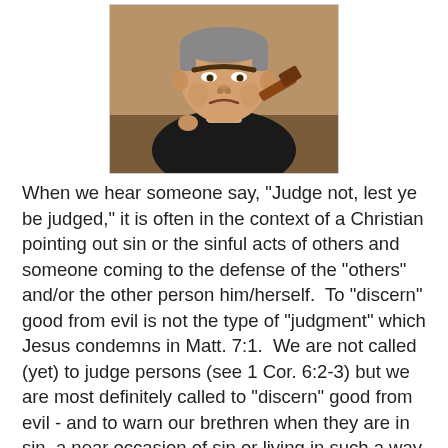[Figure (illustration): Cartoon/caricature illustration of a stern-looking judge in black robes holding a gavel, leaning forward with a frowning expression]
When we hear someone say, "Judge not, lest ye be judged," it is often in the context of a Christian pointing out sin or the sinful acts of others and someone coming to the defense of the "others" and/or the other person him/herself.  To "discern" good from evil is not the type of "judgment" which Jesus condemns in Matt. 7:1.  We are not called (yet) to judge persons (see 1 Cor. 6:2-3) but we are most definitely called to "discern" good from evil - and to warn our brethren when they are in sin, a near occasion of sin or living in such a way which may lead others to sin.  In fact, for us to turn our backs or say nothing when we witness the sin in others is not a form of love for them - for if they were to remain unrepentant in that sin and/or lifestyle then what we